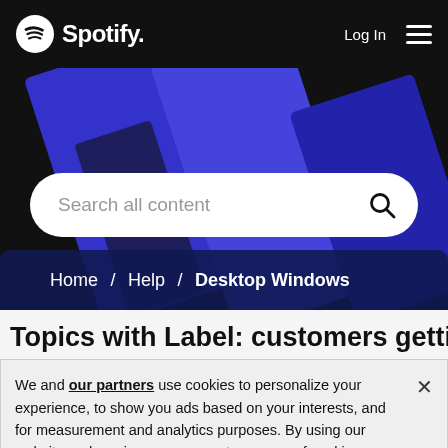Spotify  Log In
[Figure (screenshot): Spotify website hero area with blue geometric diagonal shapes on dark background and a search bar with placeholder 'Search all content']
Home / Help / Desktop Windows
Topics with Label: customers getting
We and our partners use cookies to personalize your experience, to show you ads based on your interests, and for measurement and analytics purposes. By using our website and services, you agree to our use of cookies as described in our Cookie Policy.